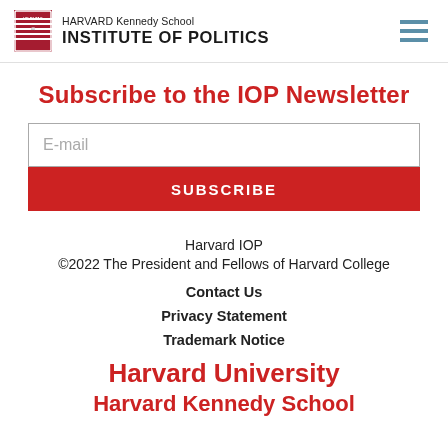Harvard Kennedy School INSTITUTE OF POLITICS
Subscribe to the IOP Newsletter
E-mail
SUBSCRIBE
Harvard IOP
©2022 The President and Fellows of Harvard College
Contact Us
Privacy Statement
Trademark Notice
Harvard University
Harvard Kennedy School